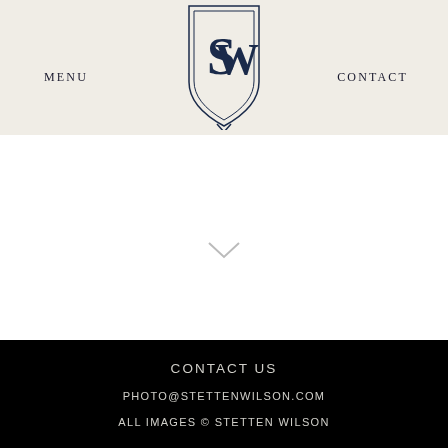MENU
[Figure (logo): Shield crest logo with intertwined SW initials in navy blue, sketched style]
CONTACT
CONTACT US
PHOTO@STETTENWILSON.COM
ALL IMAGES © STETTEN WILSON